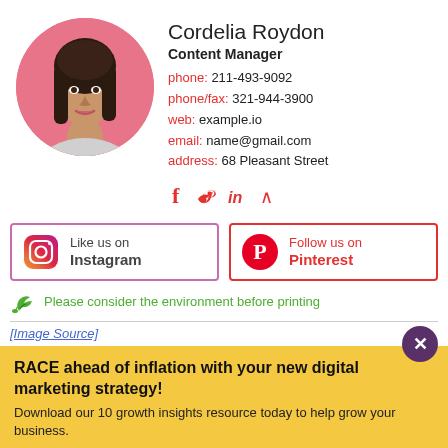[Figure (photo): Circular profile photo of a young woman with long dark hair on a pink background]
Cordelia Roydon
Content Manager
phone: 211-493-9092
phone/fax: 321-944-3900
web: example.io
email: name@gmail.com
address: 68 Pleasant Street
[Figure (infographic): Social media icons: Facebook (f), Twitter (bird), LinkedIn (in), Appnet (^)]
[Figure (infographic): Instagram button with Instagram icon and text 'Like us on Instagram']
[Figure (infographic): Pinterest button with Pinterest icon and text 'Follow us on Pinterest']
Please consider the environment before printing
[Image Source]
RACE ahead of inflation with your new digital marketing strategy!
Download our 10 growth insights resource today to help grow your business.